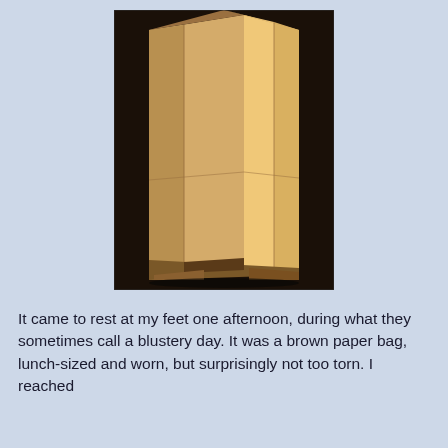[Figure (photo): A brown paper lunch bag standing upright on a dark wooden surface, photographed against a dark background. The bag is kraft paper, appears wrinkled and worn, and is shown from a slightly elevated angle.]
It came to rest at my feet one afternoon, during what they sometimes call a blustery day. It was a brown paper bag, lunch-sized and worn, but surprisingly not too torn. I reached